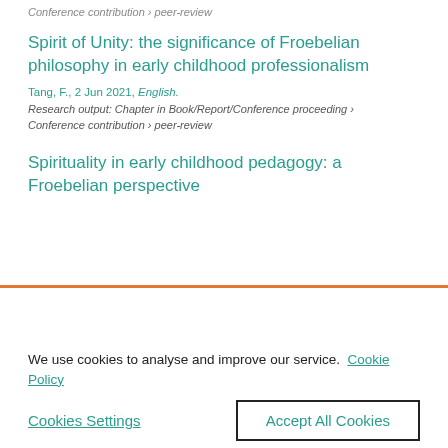Conference contribution › peer-review
Spirit of Unity: the significance of Froebelian philosophy in early childhood professionalism
Tang, F., 2 Jun 2021, English.
Research output: Chapter in Book/Report/Conference proceeding › Conference contribution › peer-review
Spirituality in early childhood pedagogy: a Froebelian perspective
We use cookies to analyse and improve our service.
Cookie Policy
Cookies Settings
Accept All Cookies